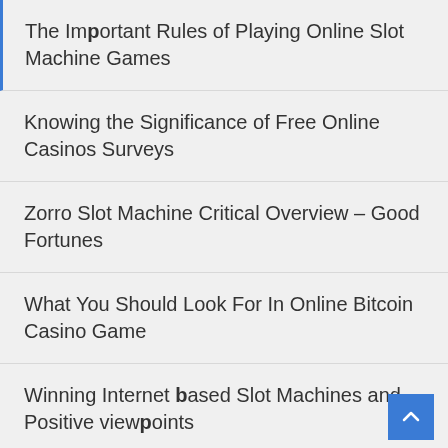The Important Rules of Playing Online Slot Machine Games
Knowing the Significance of Free Online Casinos Surveys
Zorro Slot Machine Critical Overview – Good Fortunes
What You Should Look For In Online Bitcoin Casino Game
Winning Internet based Slot Machines and Positive viewpoints